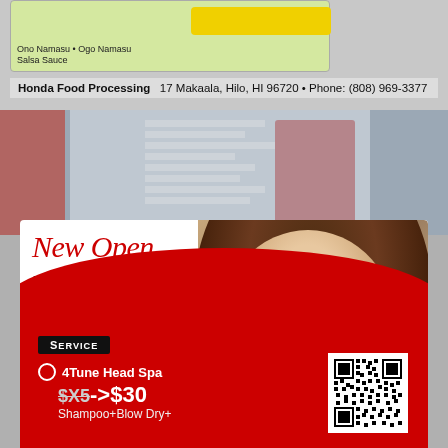[Figure (photo): Food product image showing Ono Namasu, Ogo Namasu, Salsa Sauce on green background with yellow label bar]
Honda Food Processing    17 Makaala, Hilo, HI 96720 • Phone: (808) 969-3377
[Figure (photo): Blurred background of Asian storefront/shop signs]
[Figure (photo): Salon advertisement with woman showing surprised expression, dark curly hair, pink nails covering mouth]
New Open HAIR & NAIL SALON IN WAIKIKI HAWAII
SERVICE
4Tune Head Spa $X5->$30 Shampoo+Blow Dry+